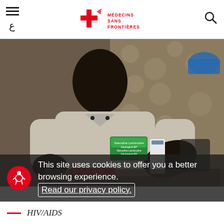Médecins Sans Frontières (MSF) website header with hamburger menu, Arabic character, MSF logo, and search icon
[Figure (photo): Person sitting indoors holding a green medication box (HIV/AIDS medicine), with other medicine boxes on table in front, behind a lace curtain backdrop.]
This site uses cookies to offer you a better browsing experience. Read our privacy policy.
HIV/AIDS